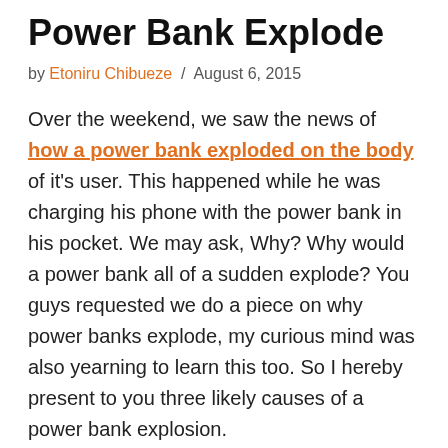Power Bank Explode
by Etoniru Chibueze / August 6, 2015
Over the weekend, we saw the news of how a power bank exploded on the body of it's user. This happened while he was charging his phone with the power bank in his pocket. We may ask, Why? Why would a power bank all of a sudden explode? You guys requested we do a piece on why power banks explode, my curious mind was also yearning to learn this too. So I hereby present to you three likely causes of a power bank explosion.